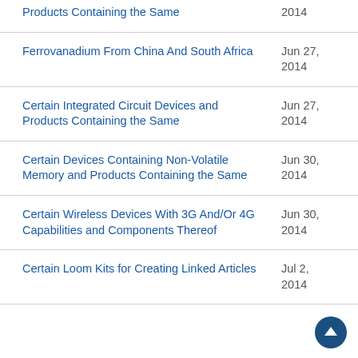Products Containing the Same | 2014
Ferrovanadium From China And South Africa | Jun 27, 2014
Certain Integrated Circuit Devices and Products Containing the Same | Jun 27, 2014
Certain Devices Containing Non-Volatile Memory and Products Containing the Same | Jun 30, 2014
Certain Wireless Devices With 3G And/Or 4G Capabilities and Components Thereof | Jun 30, 2014
Certain Loom Kits for Creating Linked Articles | Jul 2, 2014